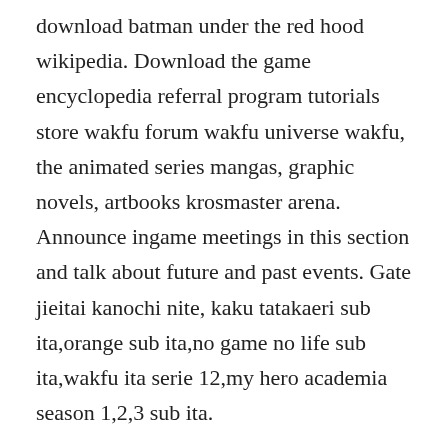download batman under the red hood wikipedia. Download the game encyclopedia referral program tutorials store wakfu forum wakfu universe wakfu, the animated series mangas, graphic novels, artbooks krosmaster arena. Announce ingame meetings in this section and talk about future and past events. Gate jieitai kanochi nite, kaku tatakaeri sub ita,orange sub ita,no game no life sub ita,wakfu ita serie 12,my hero academia season 1,2,3 sub ita.
The show is based on a turnbased tactical